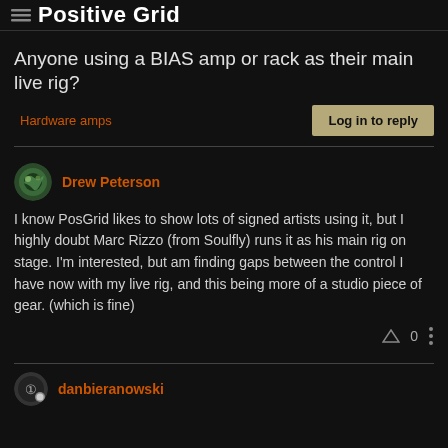Positive Grid
Anyone using a BIAS amp or rack as their main live rig?
Hardware amps
Log in to reply
Drew Peterson
I know PosGrid likes to show lots of signed artists using it, but I highly doubt Marc Rizzo (from Soulfly) runs it as his main rig on stage. I'm interested, but am finding gaps between the control I have now with my live rig, and this being more of a studio piece of gear. (which is fine)
0
danbieranowski